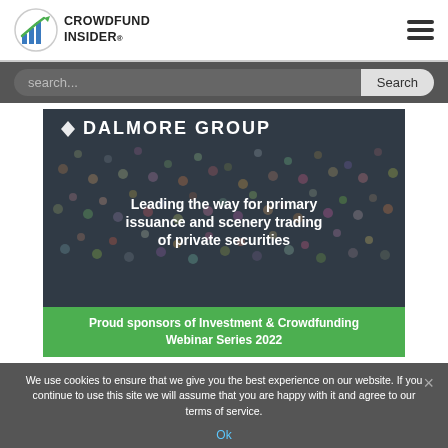[Figure (logo): Crowdfund Insider logo with bar chart icon]
[Figure (screenshot): Search bar with dark background, placeholder text 'search...' and Search button]
[Figure (illustration): Dalmore Group advertisement banner. Aerial crowd photo background with text: DALMORE GROUP, Leading the way for primary issuance and scenery trading of private securities. Green footer: Proud sponsors of Investment & Crowdfunding Webinar Series 2022]
We use cookies to ensure that we give you the best experience on our website. If you continue to use this site we will assume that you are happy with it and agree to our terms of service.
[Figure (photo): Partial aerial photo of crowd at bottom of page]